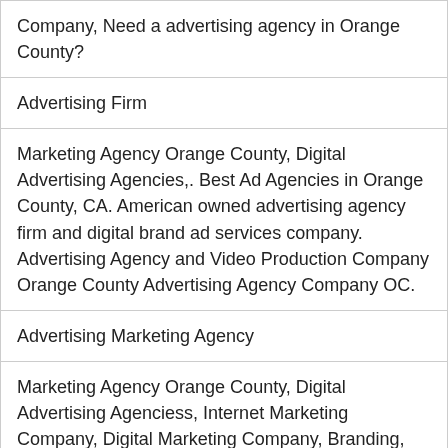Company, Need a advertising agency in Orange County?
Advertising Firm
Marketing Agency Orange County, Digital Advertising Agencies,. Best Ad Agencies in Orange County, CA. American owned advertising agency firm and digital brand ad services company. Advertising Agency and Video Production Company Orange County Advertising Agency Company OC.
Advertising Marketing Agency
Marketing Agency Orange County, Digital Advertising Agenciess, Internet Marketing Company, Digital Marketing Company, Branding, Email Marketing Orange County